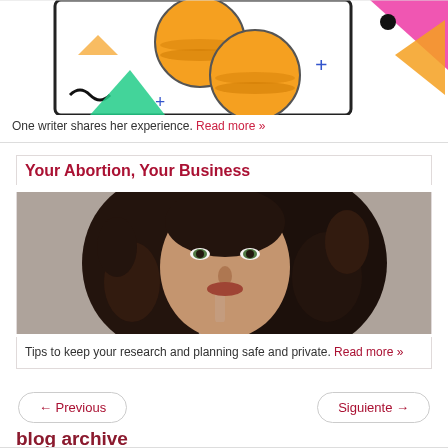[Figure (illustration): Decorative illustration with orange pill/coin shapes, geometric shapes (triangles, squiggles) on white background, shown partially at top of page]
One writer shares her experience. Read more »
Your Abortion, Your Business
[Figure (photo): Photo of a woman with long curly dark hair holding her finger to her lips in a 'shush' gesture, looking directly at camera against a gray background]
Tips to keep your research and planning safe and private. Read more »
← Previous
Siguiente →
blog archive